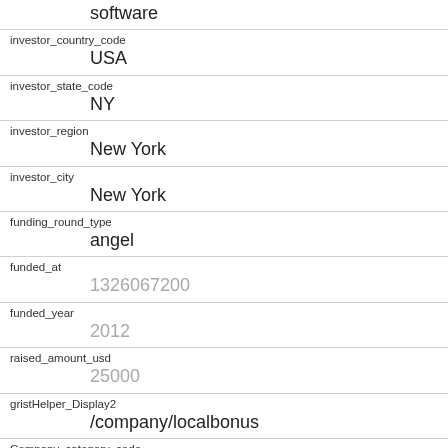software
investor_country_code
    USA
investor_state_code
    NY
investor_region
    New York
investor_city
    New York
funding_round_type
    angel
funded_at
    1326067200
funded_year
    2012
raised_amount_usd
    25000
gristHelper_Display2
    /company/localbonus
Company_category_code
    web